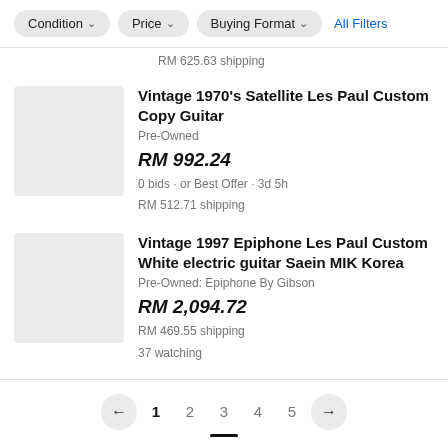Condition ∨   Price ∨   Buying Format ∨   All Filters
RM 625.63 shipping
Vintage 1970's Satellite Les Paul Custom Copy Guitar
Pre-Owned
RM 992.24
0 bids · or Best Offer · 3d 5h
RM 512.71 shipping
Vintage 1997 Epiphone Les Paul Custom White electric guitar Saein MIK Korea
Pre-Owned: Epiphone By Gibson
RM 2,094.72
RM 469.55 shipping
37 watching
← 1 2 3 4 5 →